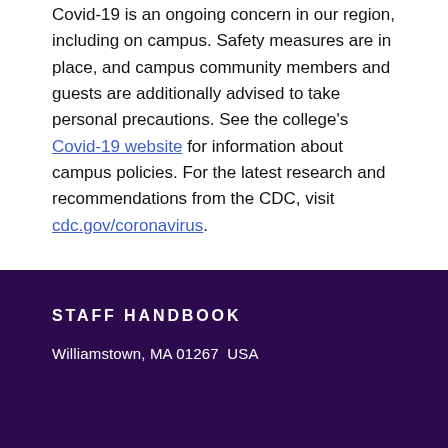Covid-19 is an ongoing concern in our region, including on campus. Safety measures are in place, and campus community members and guests are additionally advised to take personal precautions. See the college's Covid-19 website for information about campus policies. For the latest research and recommendations from the CDC, visit cdc.gov/coronavirus.
STAFF HANDBOOK
Williamstown, MA 01267  USA